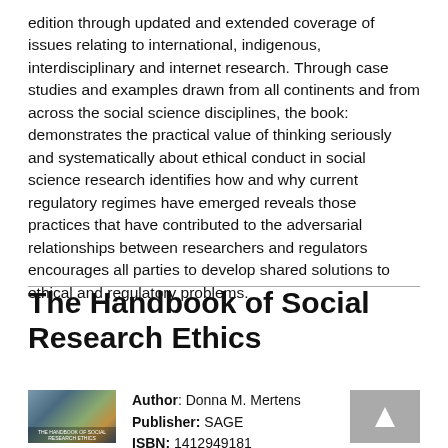edition through updated and extended coverage of issues relating to international, indigenous, interdisciplinary and internet research. Through case studies and examples drawn from all continents and from across the social science disciplines, the book: demonstrates the practical value of thinking seriously and systematically about ethical conduct in social science research identifies how and why current regulatory regimes have emerged reveals those practices that have contributed to the adversarial relationships between researchers and regulators encourages all parties to develop shared solutions to ethical and regulatory problems.
The Handbook of Social Research Ethics
[Figure (illustration): Book cover image for The Handbook of Social Research Ethics]
Author: Donna M. Mertens
Publisher: SAGE
ISBN: 1412949181